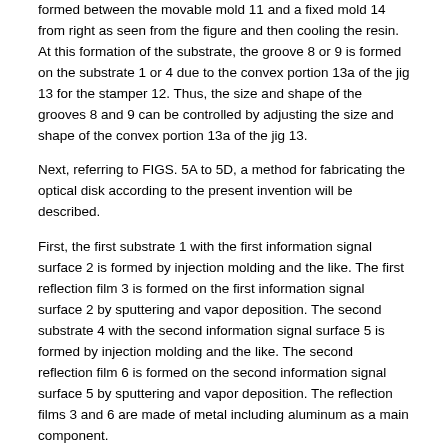formed between the movable mold 11 and a fixed mold 14 from right as seen from the figure and then cooling the resin. At this formation of the substrate, the groove 8 or 9 is formed on the substrate 1 or 4 due to the convex portion 13a of the jig 13 for the stamper 12. Thus, the size and shape of the grooves 8 and 9 can be controlled by adjusting the size and shape of the convex portion 13a of the jig 13.
Next, referring to FIGS. 5A to 5D, a method for fabricating the optical disk according to the present invention will be described.
First, the first substrate 1 with the first information signal surface 2 is formed by injection molding and the like. The first reflection film 3 is formed on the first information signal surface 2 by sputtering and vapor deposition. The second substrate 4 with the second information signal surface 5 is formed by injection molding and the like. The second reflection film 6 is formed on the second information signal surface 5 by sputtering and vapor deposition. The reflection films 3 and 6 are made of metal including aluminum as a main component.
While the first substrate 1 is rotated at a low speed (20 to 120 rpm), the radiation curable resin 7 is applied to a portion of the substrate 1 closer to the outer circumference with respect to the groove 8 to form a donut-shaped resin layer (FIG. 5A). The second substrate 4 is placed on the first substrate 1 so that the second reflection layer 6 faces the radiation curable